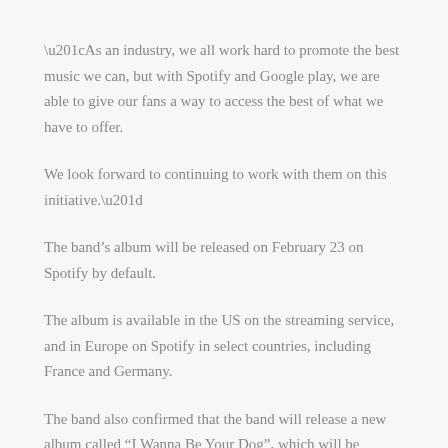“As an industry, we all work hard to promote the best music we can, but with Spotify and Google play, we are able to give our fans a way to access the best of what we have to offer.
We look forward to continuing to work with them on this initiative.”
The band’s album will be released on February 23 on Spotify by default.
The album is available in the US on the streaming service, and in Europe on Spotify in select countries, including France and Germany.
The band also confirmed that the band will release a new album called “I Wanna Be Your Dog”, which will be available February 24 in the UK.